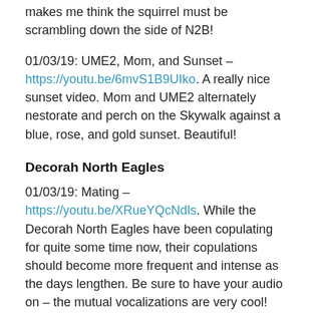makes me think the squirrel must be scrambling down the side of N2B!
01/03/19: UME2, Mom, and Sunset – https://youtu.be/6mvS1B9UIko. A really nice sunset video. Mom and UME2 alternately nestorate and perch on the Skywalk against a blue, rose, and gold sunset. Beautiful!
Decorah North Eagles
01/03/19: Mating – https://youtu.be/XRueYQcNdls. While the Decorah North Eagles have been copulating for quite some time now, their copulations should become more frequent and intense as the days lengthen. Be sure to have your audio on – the mutual vocalizations are very cool!
01/03/18: Food fight! – https://youtu.be/HZrhmBgRTQI. Sometimes you don't